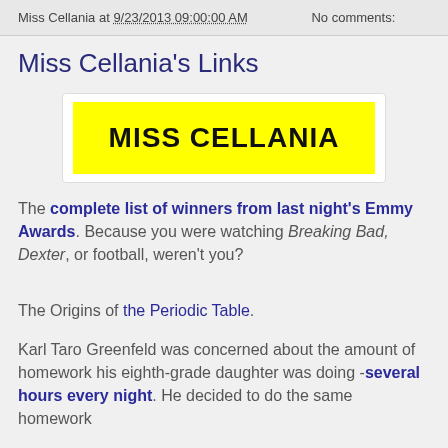Miss Cellania at 9/23/2013 09:00:00 AM    No comments:
Miss Cellania's Links
[Figure (logo): Miss Cellania logo: yellow background rectangle with bold black text reading MISS CELLANIA in uppercase]
The complete list of winners from last night's Emmy Awards. Because you were watching Breaking Bad, Dexter, or football, weren't you?
The Origins of the Periodic Table.
Karl Taro Greenfeld was concerned about the amount of homework his eighth-grade daughter was doing -several hours every night. He decided to do the same homework